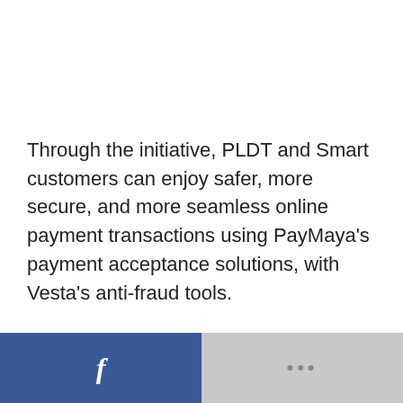Through the initiative, PLDT and Smart customers can enjoy safer, more secure, and more seamless online payment transactions using PayMaya's payment acceptance solutions, with Vesta's anti-fraud tools.
[Figure (other): Footer bar with Facebook icon button (blue) on the left half and a grey panel with three dots (more options) on the right half]